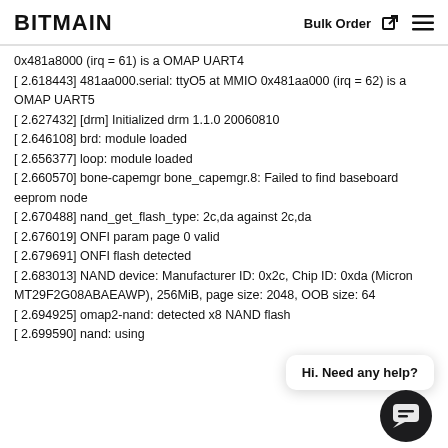BITMAIN  Bulk Order  ☰
0x481a8000 (irq = 61) is a OMAP UART4
[ 2.618443] 481aa000.serial: ttyO5 at MMIO 0x481aa000 (irq = 62) is a OMAP UART5
[ 2.627432] [drm] Initialized drm 1.1.0 20060810
[ 2.646108] brd: module loaded
[ 2.656377] loop: module loaded
[ 2.660570] bone-capemgr bone_capemgr.8: Failed to find baseboard eeprom node
[ 2.670488] nand_get_flash_type: 2c,da against 2c,da
[ 2.676019] ONFI param page 0 valid
[ 2.679691] ONFI flash detected
[ 2.683013] NAND device: Manufacturer ID: 0x2c, Chip ID: 0xda (Micron MT29F2G08ABAEAWP), 256MiB, page size: 2048, OOB size: 64
[ 2.694925] omap2-nand: detected x8 NAND flash
[ 2.699590] nand: using